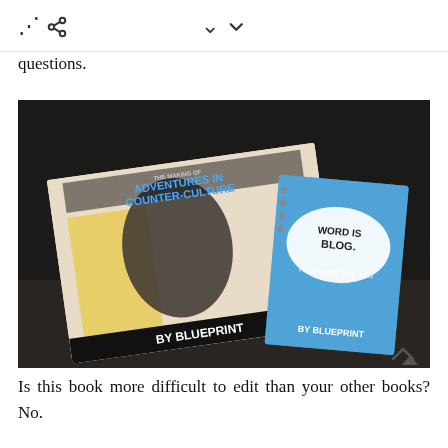< (share icon)   v (chevron icon)
questions.
[Figure (photo): Two books on a dark table: 'The Making of Adventures in Counter-Culture' by Blueprint (a graphic novel style book with an illustrated cover showing a person at a microphone) and 'Word Is Blog: Volume One 2010-2011' by Blueprint (a blue spiral-bound book). Both books are labeled 'BY BLUEPRINT'.]
Is this book more difficult to edit than your other books? No.